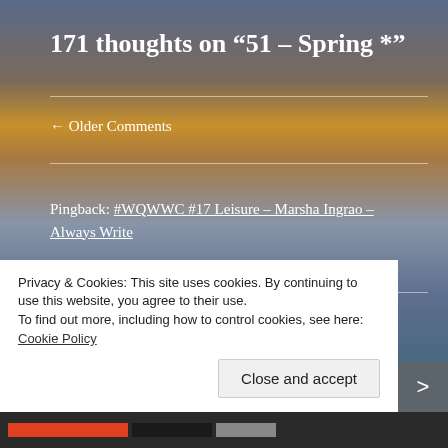171 thoughts on “51 – Spring *”
← Older Comments
Pingback: #WQWWC #17 Leisure – Marsha Ingrao – Always Write
Monica Singh
March 31, 2021 at 10:16 am
Privacy & Cookies: This site uses cookies. By continuing to use this website, you agree to their use.
To find out more, including how to control cookies, see here: Cookie Policy
Close and accept